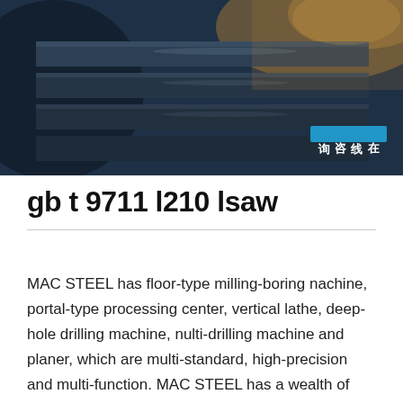[Figure (photo): Industrial steel pipes or tubes in a dark workshop/factory setting, with orange/warm lighting in the background. A small image icon appears at the right side of the text area.]
gb t 9711 l210 lsaw
MAC STEEL has floor-type milling-boring nachine, portal-type processing center, vertical lathe, deep-hole drilling machine, nulti-drilling machine and planer, which are multi-standard, high-precision and multi-function. MAC STEEL has a wealth of machining experience and cases, such as the processing of tube sheets, food machinery, papermaking equipment, tank storage trucks, large oil tanks, pressure vessels, etc.